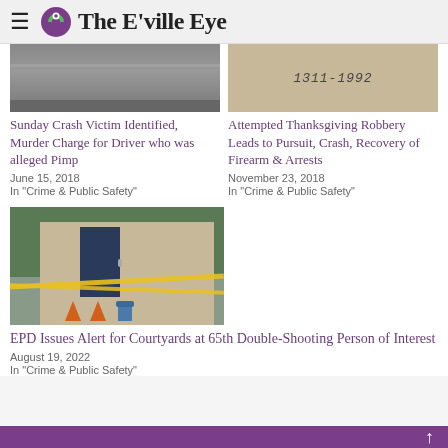The E'ville Eye
[Figure (photo): Top partial view of a road/asphalt surface, grayscale]
[Figure (photo): Handwritten text on paper: 1311-1992]
Sunday Crash Victim Identified, Murder Charge for Driver who was alleged Pimp
June 15, 2018
In "Crime & Public Safety"
Attempted Thanksgiving Robbery Leads to Pursuit, Crash, Recovery of Firearm & Arrests
November 23, 2018
In "Crime & Public Safety"
[Figure (photo): Building exterior with dark blue door, yellow crime scene tape, orange traffic cones, blue fire hydrant, green bushes]
EPD Issues Alert for Courtyards at 65th Double-Shooting Person of Interest
August 19, 2022
In "Crime & Public Safety"
↑